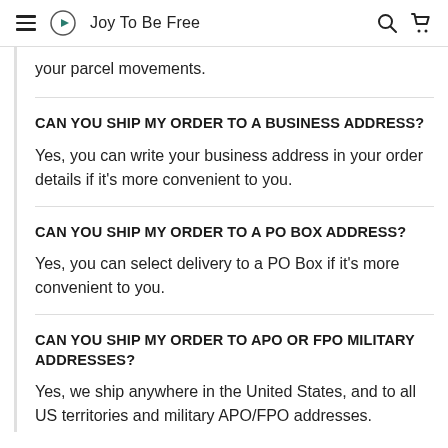Joy To Be Free
your parcel movements.
CAN YOU SHIP MY ORDER TO A BUSINESS ADDRESS?
Yes, you can write your business address in your order details if it's more convenient to you.
CAN YOU SHIP MY ORDER TO A PO BOX ADDRESS?
Yes, you can select delivery to a PO Box if it's more convenient to you.
CAN YOU SHIP MY ORDER TO APO OR FPO MILITARY ADDRESSES?
Yes, we ship anywhere in the United States, and to all US territories and military APO/FPO addresses.